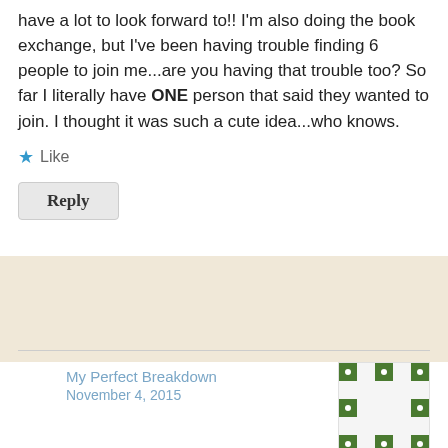have a lot to look forward to!! I'm also doing the book exchange, but I've been having trouble finding 6 people to join me...are you having that trouble too? So far I literally have ONE person that said they wanted to join. I thought it was such a cute idea...who knows.
★ Like
Reply
My Perfect Breakdown
November 4, 2015
Arg, I'm worried that I'll struggle to find 6 people because I think so many of us have already agreed to participate. Optimistically, if I manage to find a few extra people can I send them your way?? And vice-versa? Maybe we can help each other fill our